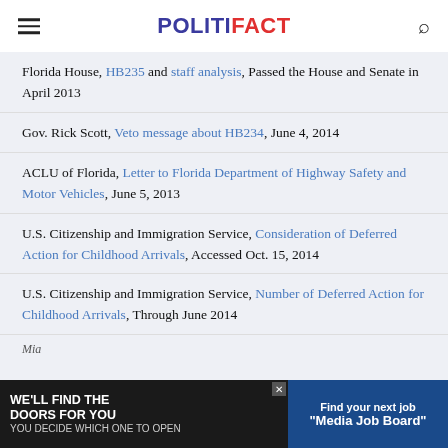POLITIFACT
Florida House, HB235 and staff analysis, Passed the House and Senate in April 2013
Gov. Rick Scott, Veto message about HB234, June 4, 2014
ACLU of Florida, Letter to Florida Department of Highway Safety and Motor Vehicles, June 5, 2013
U.S. Citizenship and Immigration Service, Consideration of Deferred Action for Childhood Arrivals, Accessed Oct. 15, 2014
U.S. Citizenship and Immigration Service, Number of Deferred Action for Childhood Arrivals, Through June 2014
Mia...